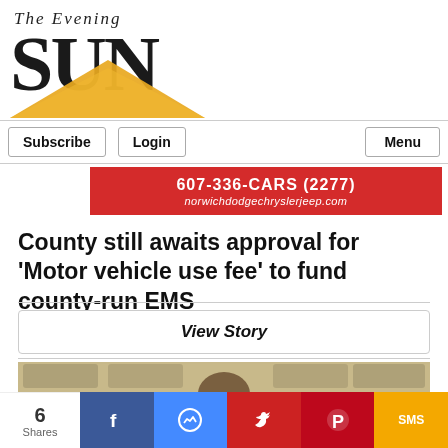[Figure (logo): The Evening Sun newspaper logo with large serif SUN text and golden triangle/arc graphic below]
[Figure (screenshot): Navigation bar with Subscribe, Login, and Menu buttons]
[Figure (infographic): Red advertisement banner: 607-336-CARS (2277) norwichdodgechryslerjeep.com]
County still awaits approval for 'Motor vehicle use fee' to fund county-run EMS
[Figure (screenshot): View Story button]
[Figure (photo): Partial photo of a person visible at the bottom of the page]
[Figure (infographic): Social share bar showing 6 Shares with Facebook, Messenger, Twitter, Pinterest, and SMS buttons]